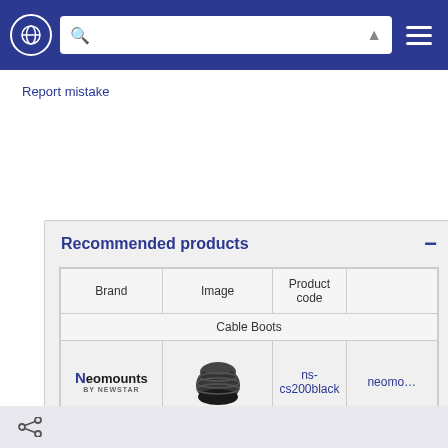[Figure (screenshot): Top navigation bar with globe icon, search bar, filter icon, and hamburger menu on dark blue background]
Report mistake
Recommended products
| Brand | Image | Product code |  |
| --- | --- | --- | --- |
| Cable Boots |  |  |  |
| Neomounts BY NEWSTAR | [image] | ns-cs200black | neomounts |
| Signage Display Mounts |  |  |  |
| Neomounts BY NEWSTAR | [image] | fpma-c050black | neomounts |
[Figure (screenshot): Bottom share bar with share icon]